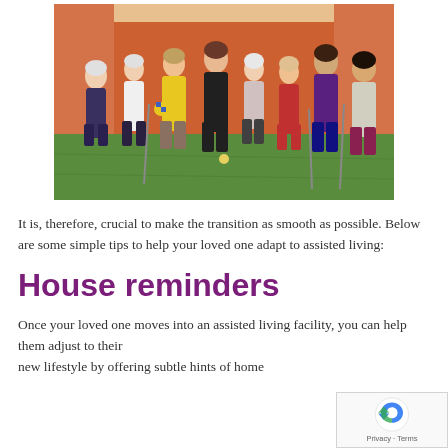[Figure (photo): Group of elderly women and caregivers playing bocce or a similar activity on a green turf court indoors, with an orange wall in the background. Several women are smiling and holding golf clubs or walking aids.]
It is, therefore, crucial to make the transition as smooth as possible. Below are some simple tips to help your loved one adapt to assisted living:
House reminders
Once your loved one moves into an assisted living facility, you can help them adjust to their new lifestyle by offering subtle hints of home...